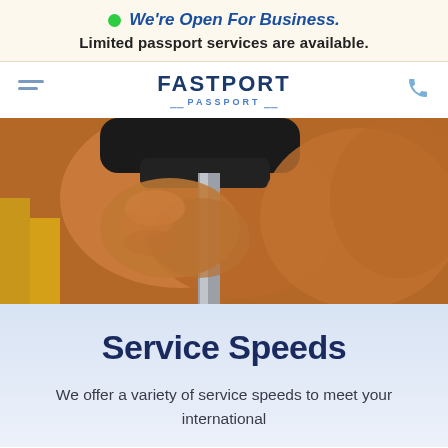We're Open For Business. Limited passport services are available.
[Figure (logo): Fastport Passport logo with navigation hamburger menu and phone icon]
[Figure (photo): Close-up photo of a person's hand gripping a luggage handle with yellow background]
Service Speeds
We offer a variety of service speeds to meet your international